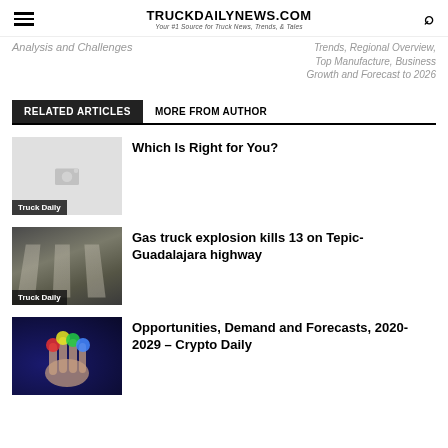TRUCKDAILYNEWS.COM — Your #1 Source for Truck News, Trends, & Tales
Analysis and Challenges
Trends, Regional Overview, Top Manufacture, Business Growth and Forecast to 2026
RELATED ARTICLES  MORE FROM AUTHOR
Which Is Right for You?
Truck Daily
Gas truck explosion kills 13 on Tepic-Guadalajara highway
Truck Daily
Opportunities, Demand and Forecasts, 2020-2029 – Crypto Daily